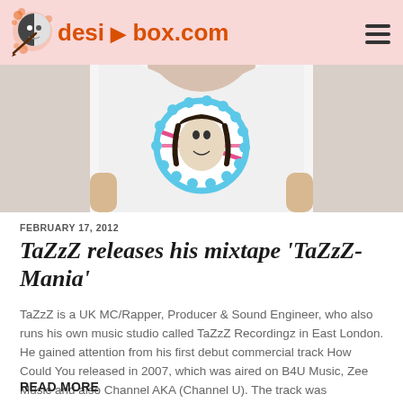desi-box.com
[Figure (photo): Person wearing a white t-shirt with a graphic print featuring a woman's face in a circular blue and pink design]
FEBRUARY 17, 2012
TaZzZ releases his mixtape 'TaZzZ-Mania'
TaZzZ is a UK MC/Rapper, Producer & Sound Engineer, who also runs his own music studio called TaZzZ Recordingz in East London. He gained attention from his first debut commercial track How Could You released in 2007, which was aired on B4U Music, Zee Music and also Channel AKA (Channel U). The track was playlisted…
READ MORE